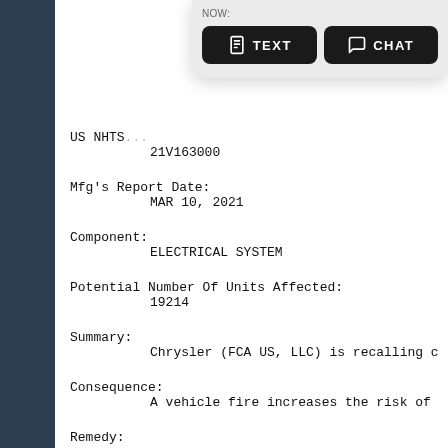[Figure (screenshot): Popup overlay with TEXT and CHAT buttons on a light gray rounded background]
US NHTS...
        21V163000
Mfg's Report Date:
        MAR 10, 2021
Component:
        ELECTRICAL SYSTEM
Potential Number Of Units Affected:
        19214
Summary:
        Chrysler (FCA US, LLC) is recalling c
Consequence:
        A vehicle fire increases the risk of
Remedy: